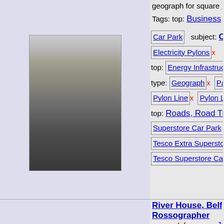geograph for square TM... Tags: top: Business, Retail, ...
[Figure (photo): Car park photo with parked cars and electricity pylons in background, foggy conditions]
Car Park   subject: Car Park
Electricity Pylons x
top: Energy Infrastructure x
type: Geograph x   Parked C...
Pylon Line x   Pylon Lines x
top: Roads, Road Transport...
Superstore Car Park x
Tesco Extra Superstore Car...
Tesco Superstore Car Park
River House, Belfast by Rossographer
geograph for square J34...
Elevated view of River House o... Belfast; the top deck of the... (m...
Tags: place: Belfast x   Belfa...
top: Business, Retail, Servic...
subject: Car Park   Car Park...
[Figure (photo): Elevated view of River House, Belfast, showing modern building and surrounding cityscape]
top: City, Town Centre x